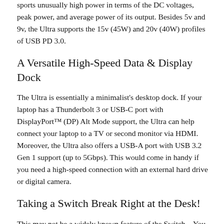sports unusually high power in terms of the DC voltages, peak power, and average power of its output. Besides 5v and 9v, the Ultra supports the 15v (45W) and 20v (40W) profiles of USB PD 3.0.
A Versatile High-Speed Data & Display Dock
The Ultra is essentially a minimalist's desktop dock. If your laptop has a Thunderbolt 3 or USB-C port with DisplayPort™ (DP) Alt Mode support, the Ultra can help connect your laptop to a TV or second monitor via HDMI. Moreover, the Ultra also offers a USB-A port with USB 3.2 Gen 1 support (up to 5Gbps). This would come in handy if you need a high-speed connection with an external hard drive or digital camera.
Taking a Switch Break Right at the Desk!
This may not be a widely known feature of the Switch—You actually can cast the Switch's video output to your computer monitor, so that you can have the fullest gaming experience without leaving your work dock. Simply hook up your Switch console with